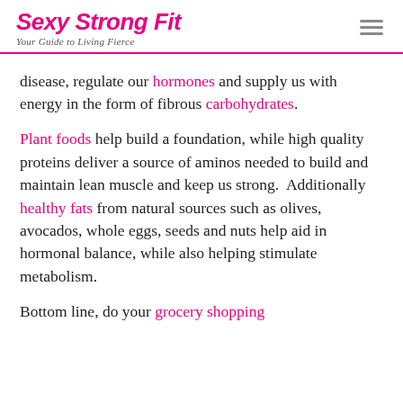Sexy Strong Fit — Your Guide to Living Fierce
disease, regulate our hormones and supply us with energy in the form of fibrous carbohydrates.
Plant foods help build a foundation, while high quality proteins deliver a source of aminos needed to build and maintain lean muscle and keep us strong. Additionally healthy fats from natural sources such as olives, avocados, whole eggs, seeds and nuts help aid in hormonal balance, while also helping stimulate metabolism.
Bottom line, do your grocery shopping